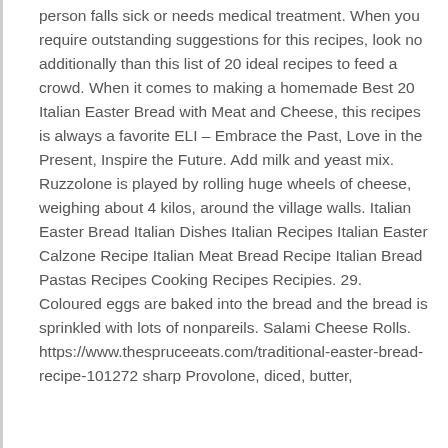person falls sick or needs medical treatment. When you require outstanding suggestions for this recipes, look no additionally than this list of 20 ideal recipes to feed a crowd. When it comes to making a homemade Best 20 Italian Easter Bread with Meat and Cheese, this recipes is always a favorite ELI – Embrace the Past, Love in the Present, Inspire the Future. Add milk and yeast mix. Ruzzolone is played by rolling huge wheels of cheese, weighing about 4 kilos, around the village walls. Italian Easter Bread Italian Dishes Italian Recipes Italian Easter Calzone Recipe Italian Meat Bread Recipe Italian Bread Pastas Recipes Cooking Recipes Recipies. 29. Coloured eggs are baked into the bread and the bread is sprinkled with lots of nonpareils. Salami Cheese Rolls. https://www.thespruceeats.com/traditional-easter-bread-recipe-101272 sharp Provolone, diced, butter,